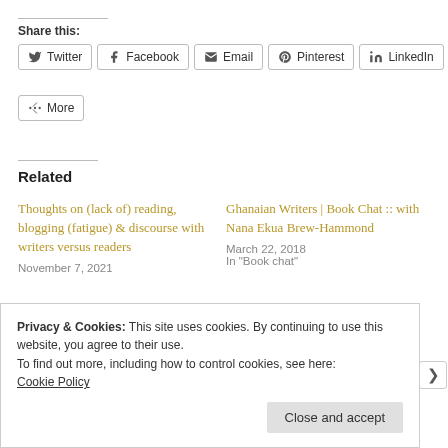Share this:
Twitter
Facebook
Email
Pinterest
LinkedIn
More
Related
Thoughts on (lack of) reading, blogging (fatigue) & discourse with writers versus readers
November 7, 2021
Ghanaian Writers | Book Chat :: with Nana Ekua Brew-Hammond
March 22, 2018
In "Book chat"
Privacy & Cookies: This site uses cookies. By continuing to use this website, you agree to their use.
To find out more, including how to control cookies, see here: Cookie Policy
Close and accept